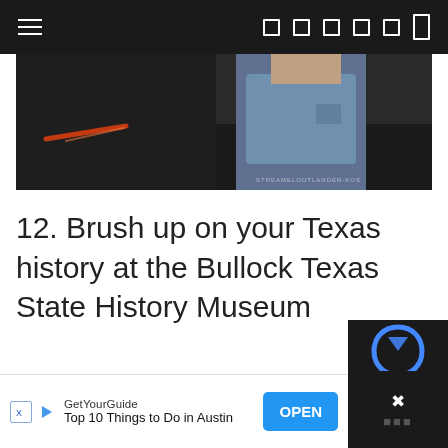Navigation bar with hamburger menu and social/search icons
[Figure (photo): Partial photo of a man in a light blue shirt standing outdoors at night with a red light streak visible, watermark text partially visible in lower right corner]
12. Brush up on your Texas history at the Bullock Texas State History Museum
GetYourGuide – Top 10 Things to Do in Austin – OPEN button advertisement